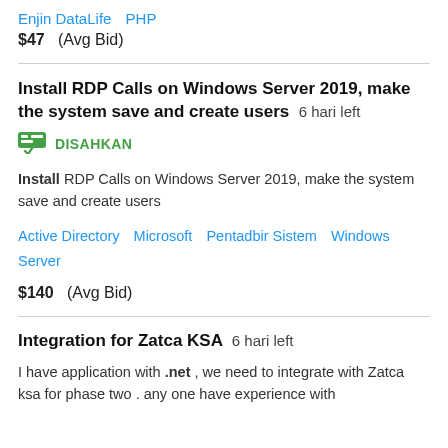Enjin DataLife  PHP
$47  (Avg Bid)
Install RDP Calls on Windows Server 2019, make the system save and create users  6 hari left
DISAHKAN
Install RDP Calls on Windows Server 2019, make the system save and create users
Active Directory  Microsoft  Pentadbir Sistem  Windows Server
$140  (Avg Bid)
Integration for Zatca KSA  6 hari left
I have application with .net , we need to integrate with Zatca ksa for phase two . any one have experience with